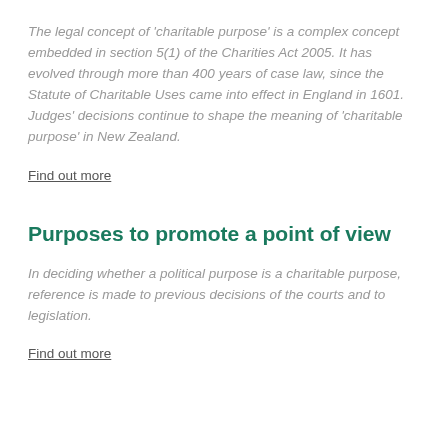The legal concept of 'charitable purpose' is a complex concept embedded in section 5(1) of the Charities Act 2005. It has evolved through more than 400 years of case law, since the Statute of Charitable Uses came into effect in England in 1601. Judges' decisions continue to shape the meaning of 'charitable purpose' in New Zealand.
Find out more
Purposes to promote a point of view
In deciding whether a political purpose is a charitable purpose, reference is made to previous decisions of the courts and to legislation.
Find out more